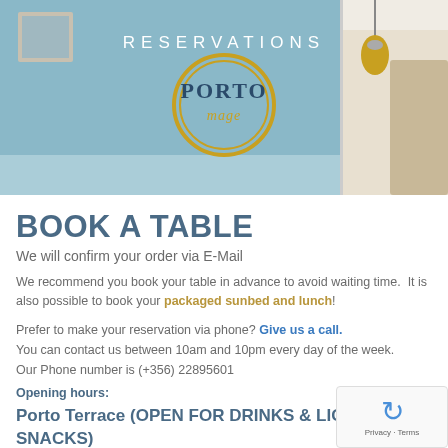[Figure (photo): Restaurant interior hero image showing a teal/blue wall with 'Porto' logo sign and hanging pendant lamps. 'RESERVATIONS' text overlaid at top center.]
BOOK A TABLE
We will confirm your order via E-Mail
We recommend you book your table in advance to avoid waiting time.  It is also possible to book your packaged sunbed and lunch!
Prefer to make your reservation via phone? Give us a call.
You can contact us between 10am and 10pm every day of the week.
Our Phone number is (+356) 22895601
Opening hours:
Porto Terrace (OPEN FOR DRINKS & LIGHT SNACKS)